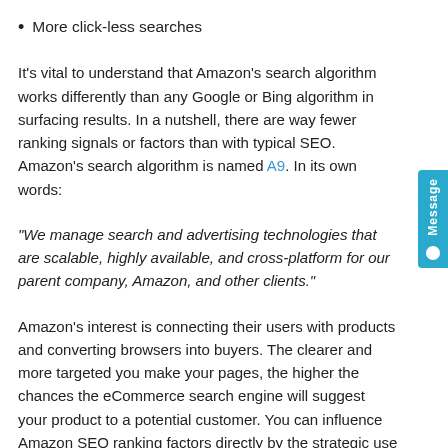More click-less searches
It's vital to understand that Amazon's search algorithm works differently than any Google or Bing algorithm in surfacing results. In a nutshell, there are way fewer ranking signals or factors than with typical SEO.  Amazon's search algorithm is named A9. In its own words:
“We manage search and advertising technologies that are scalable, highly available, and cross-platform for our parent company, Amazon, and other clients.”
Amazon’s interest is connecting their users with products and converting browsers into buyers. The clearer and more targeted you make your pages, the higher the chances the eCommerce search engine will suggest your product to a potential customer. You can influence Amazon SEO ranking factors directly by the strategic use of relevant keywords in the following